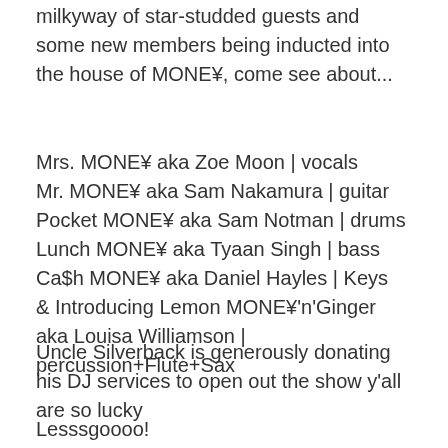milkyway of star-studded guests and some new members being inducted into the house of MONE¥, come see about...
Mrs. MONE¥ aka Zoe Moon | vocals
Mr. MONE¥ aka Sam Nakamura | guitar
Pocket MONE¥ aka Sam Notman | drums
Lunch MONE¥ aka Tyaan Singh | bass
Ca$h MONE¥ aka Daniel Hayles | Keys
& Introducing Lemon MONE¥'n'Ginger aka Louisa Williamson | percussion+Flute+Sax
Uncle Silverback is generously donating his DJ services to open out the show y'all are so lucky
Lesssgoooo!